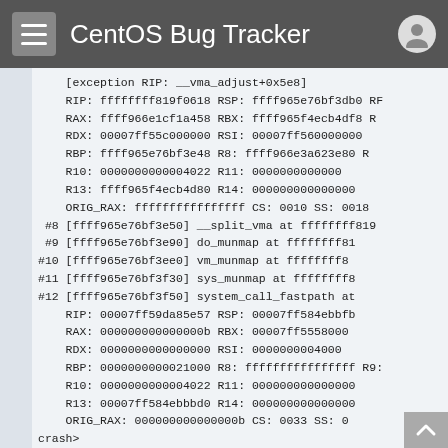CentOS Bug Tracker
[exception RIP: __vma_adjust+0x5e8]
RIP: ffffffff819f0618 RSP: ffff965e76bf3db0 RF
RAX: ffff966e1cf1a458 RBX: ffff965f4ecb4df8 R
RDX: 00007ff55c000000 RSI: 00007ff560000000
RBP: ffff965e76bf3e48 R8: ffff966e3a623e80 R
R10: 0000000000004022 R11: 000000000000000
R13: ffff965f4ecb4d80 R14: 000000000000000
ORIG_RAX: ffffffffffffffff CS: 0010 SS: 0018
#8 [ffff965e76bf3e50] __split_vma at ffffffff819
#9 [ffff965e76bf3e90] do_munmap at ffffffff81
#10 [ffff965e76bf3ee0] vm_munmap at ffffffff8
#11 [ffff965e76bf3f30] sys_munmap at ffffffff8
#12 [ffff965e76bf3f50] system_call_fastpath at
RIP: 00007ff59da85e57 RSP: 00007ff584ebbfb
RAX: 000000000000000b RBX: 00007ff5558000
RDX: 0000000000000000 RSI: 0000000004000
RBP: 0000000000021000 R8: ffffffffffffffff R9:
R10: 0000000000004022 R11: 000000000000000
R13: 00007ff584ebbbd0 R14: 000000000000000
ORIG_RAX: 000000000000000b CS: 0033 SS: 0
crash>